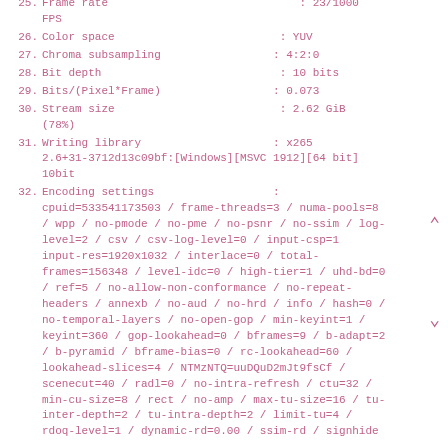25. Frame rate : 23/1000 FPS
26. Color space : YUV
27. Chroma subsampling : 4:2:0
28. Bit depth : 10 bits
29. Bits/(Pixel*Frame) : 0.073
30. Stream size : 2.62 GiB (78%)
31. Writing library : x265 2.6+31-3712d13c09bf:[Windows][MSVC 1912][64 bit] 10bit
32. Encoding settings : cpuid=533541173503 / frame-threads=3 / numa-pools=8 / wpp / no-pmode / no-pme / no-psnr / no-ssim / log-level=2 / csv / csv-log-level=0 / input-csp=1 / input-res=1920x1032 / interlace=0 / total-frames=156348 / level-idc=0 / high-tier=1 / uhd-bd=0 / ref=5 / no-allow-non-conformance / no-repeat-headers / annexb / no-aud / no-hrd / info / hash=0 / no-temporal-layers / no-open-gop / min-keyint=1 / keyint=360 / gop-lookahead=0 / bframes=9 / b-adapt=2 / b-pyramid / bframe-bias=0 / rc-lookahead=60 / lookahead-slices=4 / NTMzNTQ=uuDQuD2mJt9fsCf / scenecut=40 / radl=0 / no-intra-refresh / ctu=32 / min-cu-size=8 / rect / no-amp / max-tu-size=16 / tu-inter-depth=2 / tu-intra-depth=2 / limit-tu=4 / rdoq-level=1 / dynamic-rd=0.00 / ssim-rd / signhide